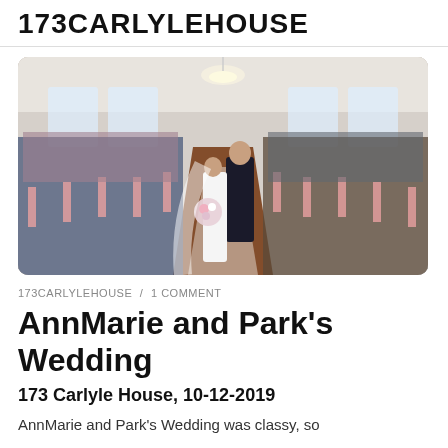173CARLYLEHOUSE
[Figure (photo): Wedding ceremony photo showing a couple kissing at the altar in a grand ballroom venue, with guests seated on both sides of a decorated aisle, chandelier overhead.]
173CARLYLEHOUSE / 1 COMMENT
AnnMarie and Park's Wedding
173 Carlyle House, 10-12-2019
AnnMarie and Park's Wedding was classy, so